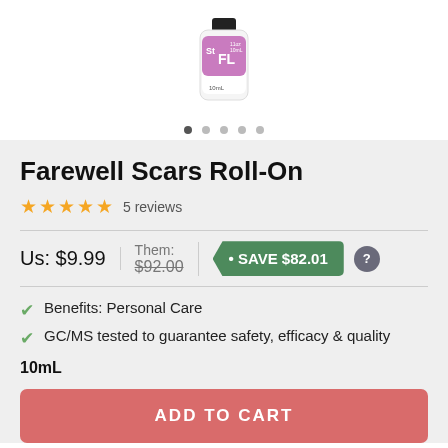[Figure (photo): Product bottle - Farewell Scars Roll-On 10mL with purple/pink label]
Farewell Scars Roll-On
★★★★★ 5 reviews
Us: $9.99 | Them: $92.00 | • SAVE $82.01
Benefits: Personal Care
GC/MS tested to guarantee safety, efficacy & quality
10mL
ADD TO CART